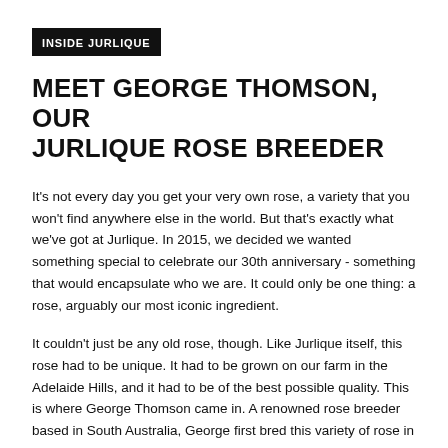INSIDE JURLIQUE
MEET GEORGE THOMSON, OUR JURLIQUE ROSE BREEDER
It’s not every day you get your very own rose, a variety that you won’t find anywhere else in the world. But that’s exactly what we’ve got at Jurlique. In 2015, we decided we wanted something special to celebrate our 30th anniversary - something that would encapsulate who we are. It could only be one thing: a rose, arguably our most iconic ingredient.
It couldn’t just be any old rose, though. Like Jurlique itself, this rose had to be unique. It had to be grown on our farm in the Adelaide Hills, and it had to be of the best possible quality. This is where George Thomson came in. A renowned rose breeder based in South Australia, George first bred this variety of rose in 2014. With a unique highly-perfumed scent, oil extract that’s super-hydrating, beautiful soft pink colour and large, abundant petals, we knew straight away